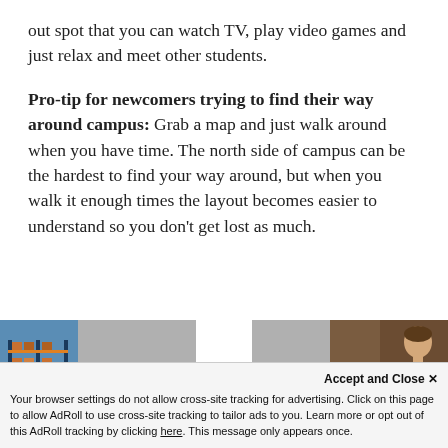out spot that you can watch TV, play video games and just relax and meet other students.
Pro-tip for newcomers trying to find their way around campus: Grab a map and just walk around when you have time. The north side of campus can be the hardest to find your way around, but when you walk it enough times the layout becomes easier to understand so you don't get lost as much.
[Figure (photo): Two advertisement images at the bottom of the page: left shows warehouse shelving with blue storage racks, right shows a person's face/portrait]
Accept and Close ✕
Your browser settings do not allow cross-site tracking for advertising. Click on this page to allow AdRoll to use cross-site tracking to tailor ads to you. Learn more or opt out of this AdRoll tracking by clicking here. This message only appears once.